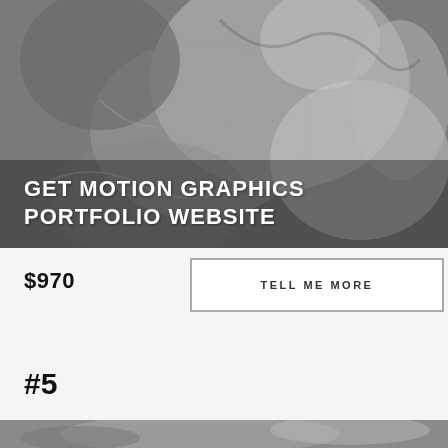[Figure (photo): Black and white close-up photograph of a marble or stone sculpture showing muscular human figures, with overlaid white bold uppercase text reading GET MOTION GRAPHICS PORTFOLIO WEBSITE]
GET MOTION GRAPHICS PORTFOLIO WEBSITE
$970
TELL ME MORE
#5
[Figure (photo): Partially visible black and white photograph at the bottom of the page, cropped]